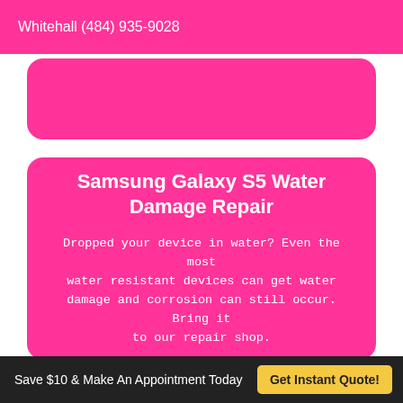Whitehall (484) 935-9028
Samsung Galaxy S5 Water Damage Repair
Dropped your device in water? Even the most water resistant devices can get water damage and corrosion can still occur. Bring it to our repair shop.
Save $10 & Make An Appointment Today   Get Instant Quote!